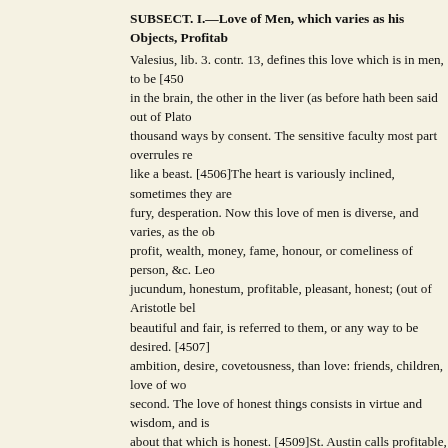SUBSECT. I.—Love of Men, which varies as his Objects, Profitable
Valesius, lib. 3. contr. 13, defines this love which is in men, to be [450 in the brain, the other in the liver (as before hath been said out of Plato thousand ways by consent. The sensitive faculty most part overrules re like a beast. [4506]The heart is variously inclined, sometimes they are fury, desperation. Now this love of men is diverse, and varies, as the ob profit, wealth, money, fame, honour, or comeliness of person, &c. Leo jucundum, honestum, profitable, pleasant, honest; (out of Aristotle bel beautiful and fair, is referred to them, or any way to be desired. [4507] ambition, desire, covetousness, than love: friends, children, love of wo second. The love of honest things consists in virtue and wisdom, and is about that which is honest. [4509]St. Austin calls profitable, worldly; p charity, friendship, and true love, which respects God and our neighbo cause melancholy.
Amongst all these fair enticing objects, which procure love, and bewit that which carrieth with it a show of commodity. Health indeed is a pre misery, drink bitter potions, freely give our goods: restore a man to his beholding to thee; but give him wealth and honour, give him gold, or w command his affections, oblige him eternally to thee, heart, hand, life, gracious lord and master, his Mecaenas; he is thy slave, thy vassal, mo this kind, there spoke an angel, a blessed hour that brings in gain, he is thine for ever. No loadstone so attractive as that of profit, none so fair turn, bounty and liberality command body and soul: